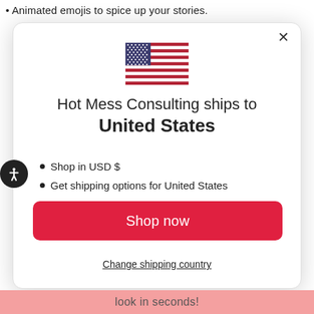Animated emojis to spice up your stories.
[Figure (illustration): US flag emoji SVG illustration]
Hot Mess Consulting ships to United States
Shop in USD $
Get shipping options for United States
Shop now
Change shipping country
look in seconds!